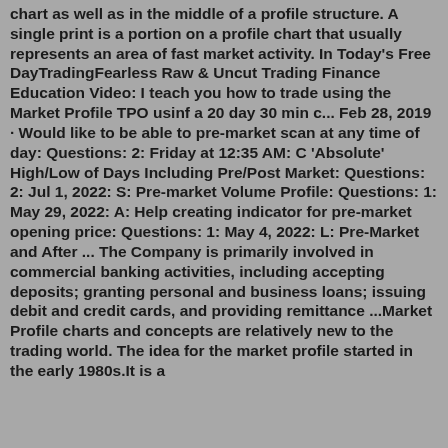chart as well as in the middle of a profile structure. A single print is a portion on a profile chart that usually represents an area of fast market activity. In Today's Free DayTradingFearless Raw & Uncut Trading Finance Education Video: I teach you how to trade using the Market Profile TPO usinf a 20 day 30 min c... Feb 28, 2019 · Would like to be able to pre-market scan at any time of day: Questions: 2: Friday at 12:35 AM: C 'Absolute' High/Low of Days Including Pre/Post Market: Questions: 2: Jul 1, 2022: S: Pre-market Volume Profile: Questions: 1: May 29, 2022: A: Help creating indicator for pre-market opening price: Questions: 1: May 4, 2022: L: Pre-Market and After ... The Company is primarily involved in commercial banking activities, including accepting deposits; granting personal and business loans; issuing debit and credit cards, and providing remittance ...Market Profile charts and concepts are relatively new to the trading world. The idea for the market profile started in the early 1980s.It is a